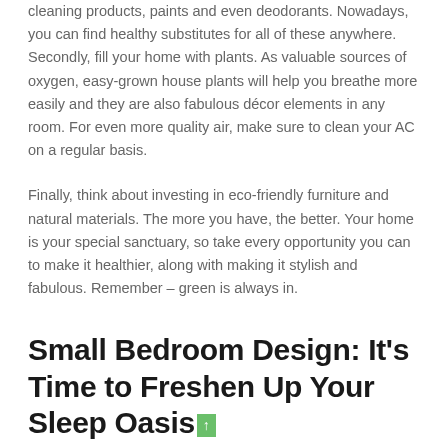cleaning products, paints and even deodorants. Nowadays, you can find healthy substitutes for all of these anywhere. Secondly, fill your home with plants. As valuable sources of oxygen, easy-grown house plants will help you breathe more easily and they are also fabulous décor elements in any room. For even more quality air, make sure to clean your AC on a regular basis.
Finally, think about investing in eco-friendly furniture and natural materials. The more you have, the better. Your home is your special sanctuary, so take every opportunity you can to make it healthier, along with making it stylish and fabulous. Remember – green is always in.
Small Bedroom Design: It's Time to Freshen Up Your Sleep Oasis
admin Adate   home improvement